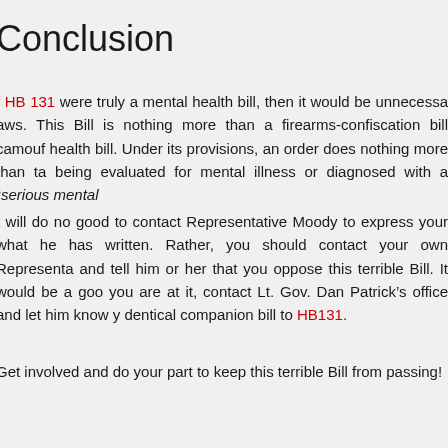Conclusion
f HB 131 were truly a mental health bill, then it would be unnecessa aws. This Bill is nothing more than a firearms-confiscation bill camous health bill. Under its provisions, an order does nothing more than ta being evaluated for mental illness or diagnosed with a “serious mental
t will do no good to contact Representative Moody to express your what he has written. Rather, you should contact your own Representa and tell him or her that you oppose this terrible Bill. It would be a goo you are at it, contact Lt. Gov. Dan Patrick’s office and let him know y dentical companion bill to HB131.
Get involved and do your part to keep this terrible Bill from passing!